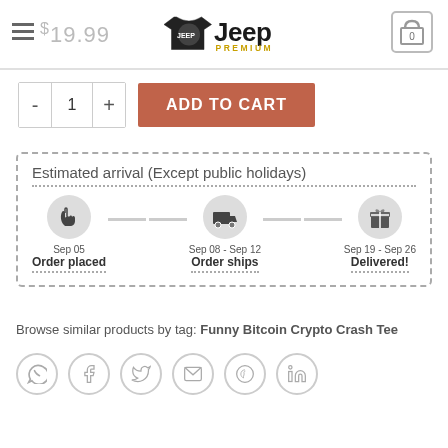[Figure (logo): Jeep Premium logo with t-shirt and jeep illustration]
$19.99
[Figure (other): Shopping cart icon showing 0 items]
- 1 + ADD TO CART
[Figure (infographic): Estimated arrival timeline showing Order placed Sep 05, Order ships Sep 08 - Sep 12, Delivered Sep 19 - Sep 26]
Browse similar products by tag: Funny Bitcoin Crypto Crash Tee
[Figure (other): Social sharing icons: WhatsApp, Facebook, Twitter, Email, Pinterest, LinkedIn]